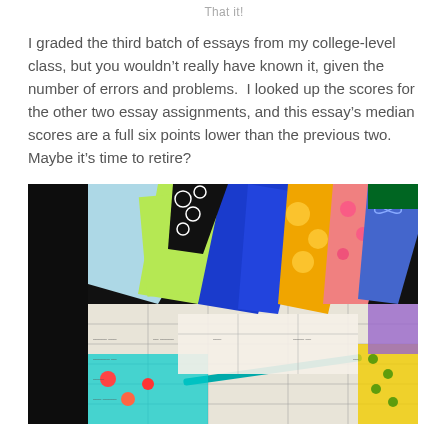That it!
I graded the third batch of essays from my college-level class, but you wouldn’t really have known it, given the number of errors and problems.  I looked up the scores for the other two essay assignments, and this essay’s median scores are a full six points lower than the previous two.  Maybe it’s time to retire?
[Figure (photo): Photo of colorful patchwork quilt fabric pieces with fan/wedge shapes in various prints (blue, green, yellow/orange, pink, black with circles, teal, etc.) laid on top of what appears to be grading rubric sheets, with a pen visible, inside a car.]